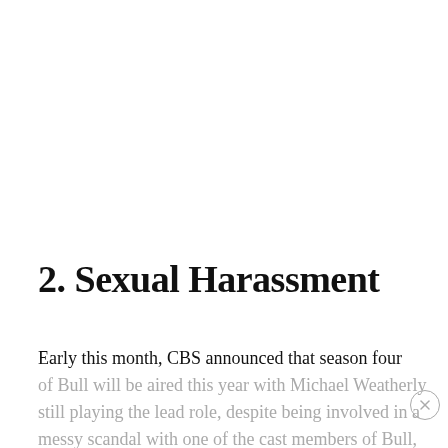2. Sexual Harassment
Early this month, CBS announced that season four of Bull will be aired this year with Michael Weatherly still playing the lead role, despite being involved in a messy scandal with one of the cast members of Bull, Eliza Dushku. According to